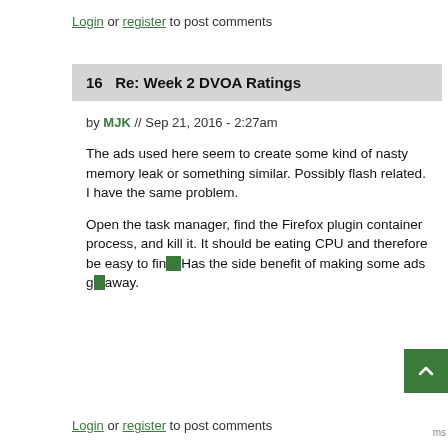Login or register to post comments
16   Re: Week 2 DVOA Ratings
by MJK // Sep 21, 2016 - 2:27am
The ads used here seem to create some kind of nasty memory leak or something similar. Possibly flash related. I have the same problem.
Open the task manager, find the Firefox plugin container process, and kill it. It should be eating CPU and therefore be easy to find. Has the side benefit of making some ads go away.
Login or register to post comments